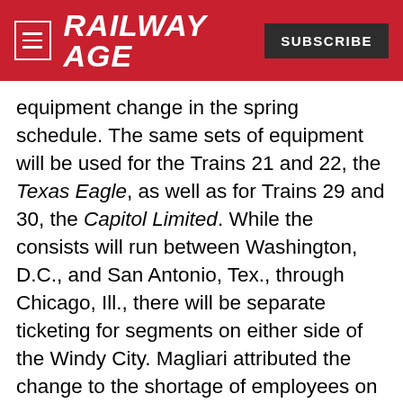RAILWAY AGE
equipment change in the spring schedule. The same sets of equipment will be used for the Trains 21 and 22, the Texas Eagle, as well as for Trains 29 and 30, the Capitol Limited. While the consists will run between Washington, D.C., and San Antonio, Tex., through Chicago, Ill., there will be separate ticketing for segments on either side of the Windy City. Magliari attributed the change to the shortage of employees on the operating and maintenance sides, as well as the fact that both trains are one-night trains, rather than taking two nights.
Part of the rationale behind the change is to move the required 1,500-mile mechanical inspections from Chicago